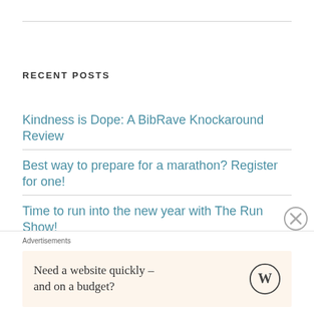RECENT POSTS
Kindness is Dope: A BibRave Knockaround Review
Best way to prepare for a marathon? Register for one!
Time to run into the new year with The Run Show!
Summer Fitness Roundup: Summer Lovin' on the Roads Less Traveled
Advertisements
Need a website quickly – and on a budget?